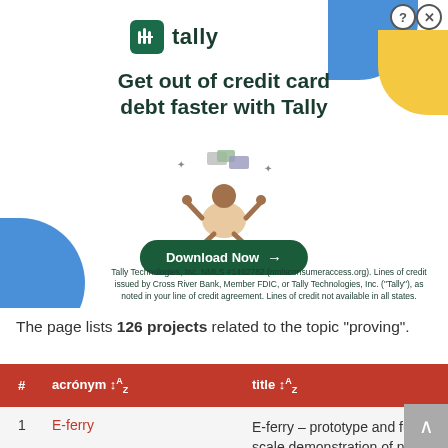[Figure (screenshot): Tally app advertisement banner: 'Get out of credit card debt faster with Tally' with Download Now button, decorative shapes, illustration of person juggling credit cards, and fine print about Tally Technologies, Inc. NMLS #1492782.]
The page lists 126 projects related to the topic "proving".
| # | acronym | title |
| --- | --- | --- |
| 1 | E-ferry | E-ferry – prototype and full-scale demonstration of next generation ... |
E-ferry – prototype and full-scale demonstration of next generation